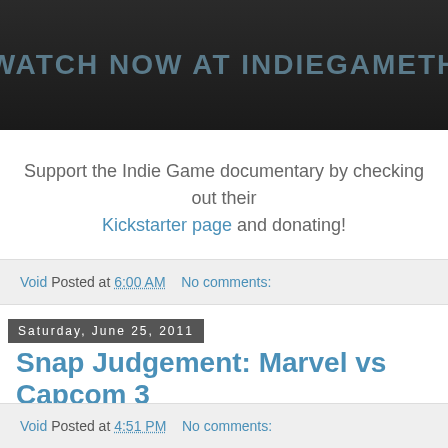[Figure (screenshot): Dark banner with text 'WATCH NOW AT INDIEGAMETH...' in blue-grey letters on dark background]
Support the Indie Game documentary by checking out their Kickstarter page and donating!
Void Posted at 6:00 AM   No comments:
Saturday, June 25, 2011
Snap Judgement: Marvel vs Capcom 3
This.
Void Posted at 4:51 PM   No comments: